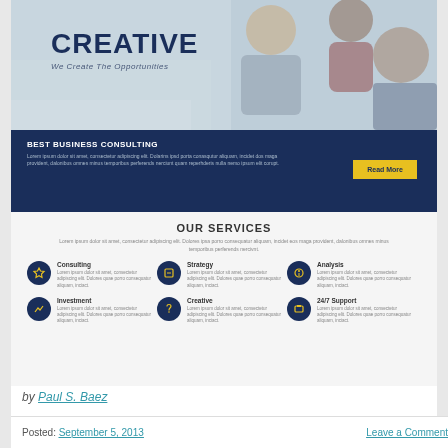[Figure (photo): Business meeting photo with overlay text CREATIVE / We Create The Opportunities on dark navy background]
BEST BUSINESS CONSULTING
Lorem ipsum dolor sit amet, consectetur adipiscing elit. Dolarins ipsd porta conasqutur aliquam, incidet dos maga provident, dalonibus omnes minus temporibus perferends nerciunt quam reperhderis nulla nemo ipsum elit corupt.
OUR SERVICES
Lorem ipsum dolor sit amet, consectetur adipiscing elit. Dolores ipsa porro consequatur aliquam, incidet eos maga provident, dalonibus omnes minus temporibus perferends nercivnt.
Consulting
Lorem ipsum dolor sit amet, consectetur adipiscing elit. Dolores quae porro consequatur aliquam, inciact.
Strategy
Lorem ipsum dolor sit amet, consectetur adipiscing elit. Dolores quae porro consequatur aliquam, inciact.
Analysis
Lorem ipsum dolor sit amet, consectetur adipiscing elit. Dolores quae porro consequatur aliquam, inciact.
Investment
Lorem ipsum dolor sit amet, consectetur adipiscing elit. Dolores quae porro consequatur aliquam, inciact.
Creative
Lorem ipsum dolor sit amet, consectetur adipiscing elit. Dolores quae porro consequatur aliquam, inciact.
24/7 Support
Lorem ipsum dolor sit amet, consectetur adipiscing elit. Dolores quae porro consequatur aliquam, inciact.
by Paul S. Baez
Posted: September 5, 2013    Leave a Comment